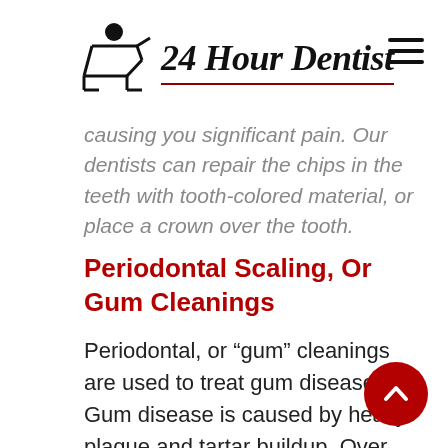24 Hour Dentist
causing you significant pain. Our dentists can repair the chips in the teeth with tooth-colored material, or place a crown over the tooth.
Periodontal Scaling, Or Gum Cleanings
Periodontal, or “gum” cleanings are used to treat gum disease. Gum disease is caused by heavy plaque and tartar buildup. Over time, plaque causes gums to become inflamed and bleed easily, which is a condition called gingivitis. Untreated, gingivitis can turn into periodontal disease, causing gums to pull away from teeth. Painful pockets of disease can